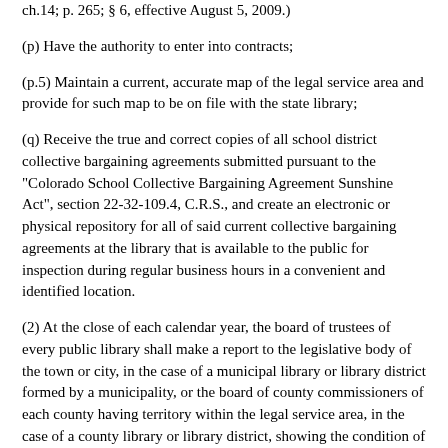ch.14; p. 265; § 6, effective August 5, 2009.)
(p) Have the authority to enter into contracts;
(p.5) Maintain a current, accurate map of the legal service area and provide for such map to be on file with the state library;
(q) Receive the true and correct copies of all school district collective bargaining agreements submitted pursuant to the "Colorado School Collective Bargaining Agreement Sunshine Act", section 22-32-109.4, C.R.S., and create an electronic or physical repository for all of said current collective bargaining agreements at the library that is available to the public for inspection during regular business hours in a convenient and identified location.
(2) At the close of each calendar year, the board of trustees of every public library shall make a report to the legislative body of the town or city, in the case of a municipal library or library district formed by a municipality, or the board of county commissioners of each county having territory within the legal service area, in the case of a county library or library district, showing the condition of its trust during the year, the